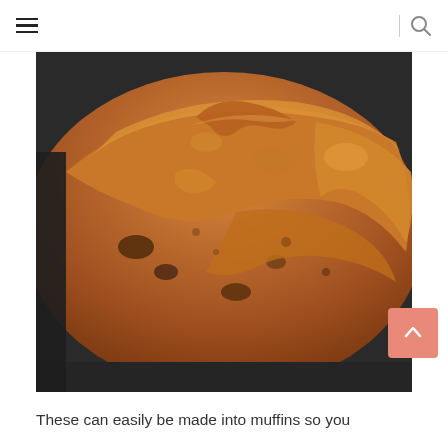≡  |  🔍
[Figure (photo): Close-up photo of a golden-brown banana bread loaf in a dark baking pan, showing a moist, textured interior with chunks visible]
These can easily be made into muffins so you